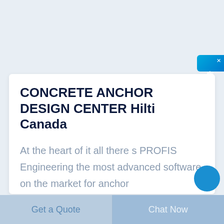[Figure (other): Chinese online chat widget button on right side, teal/blue gradient background with Chinese characters 在线咨询 and a close X]
CONCRETE ANCHOR DESIGN CENTER Hilti Canada
At the heart of it all there s PROFIS Engineering the most advanced software on the market for anchor
Get a Quote
Chat Now